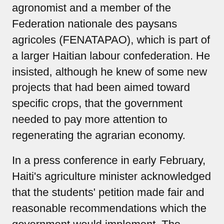agronomist and a member of the Federation nationale des paysans agricoles (FENATAPAO), which is part of a larger Haitian labour confederation. He insisted, although he knew of some new projects that had been aimed toward specific crops, that the government needed to pay more attention to regenerating the agrarian economy.
In a press conference in early February, Haiti's agriculture minister acknowledged that the students' petition made fair and reasonable recommendations which the government would implement. The protesters, while welcoming the promises, remain sceptical and say they will watch closely how the ministry moves forward with the agenda.
Recently the Haitian government blocked incoming shipments of poultry and eggs from the Dominican Republic because of the discovery of bird flu there.